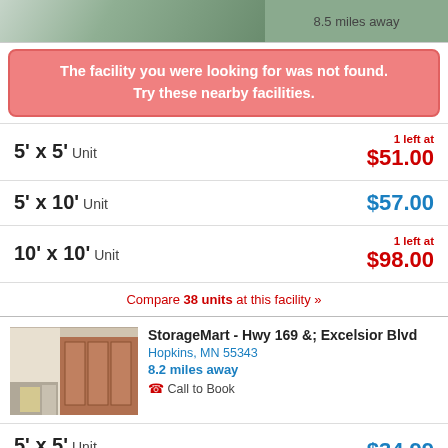[Figure (photo): Top photo of a storage facility exterior with trees, partially visible. Shows '8.5 miles away' text.]
8.5 miles away
The facility you were looking for was not found. Try these nearby facilities.
5' x 5' Unit — 1 left at $51.00
5' x 10' Unit — $57.00
10' x 10' Unit — 1 left at $98.00
Compare 38 units at this facility »
[Figure (photo): Interior photo of StorageMart facility showing storage units with red/brown roll-up doors and yellow carts.]
StorageMart - Hwy 169 &; Excelsior Blvd
Hopkins, MN 55343
8.2 miles away
Call to Book
5' x 5' Unit
Free Month — $34.99